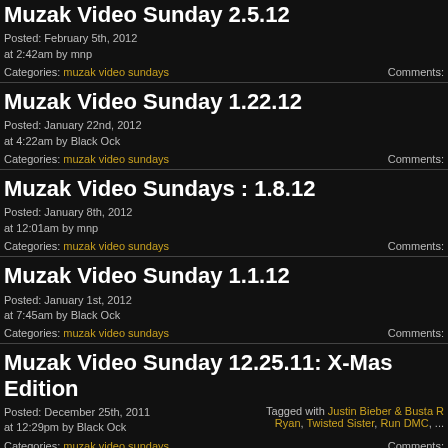Muzak Video Sunday 2.5.12
Posted: February 5th, 2012 at 2:42am by mnp
Categories: muzak video sundays    Comments:
Muzak Video Sunday 1.22.12
Posted: January 22nd, 2012 at 4:22am by Black Ock
Categories: muzak video sundays    Comments:
Muzak Video Sundays : 1.8.12
Posted: January 8th, 2012 at 12:01am by mnp
Categories: muzak video sundays    Comments:
Muzak Video Sunday 1.1.12
Posted: January 1st, 2012 at 7:45am by Black Ock
Categories: muzak video sundays    Comments:
Muzak Video Sunday 12.25.11: X-Mas Edition
Posted: December 25th, 2011 at 12:29pm by Black Ock
Tagged with Justin Bieber & Busta Ryan, Twisted Sister, Run DMC, ...    Categories: muzak video sundays    Comments:
Muzak Video Sunday 12.18.11
Posted: December 18th, 2011